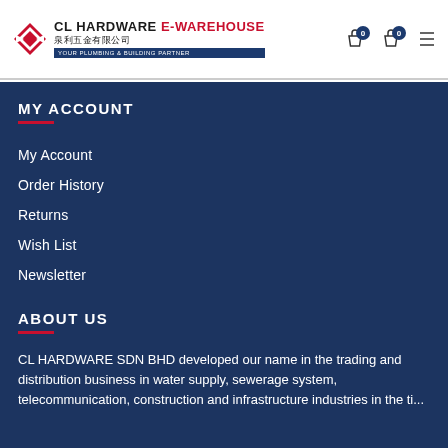CL HARDWARE E-WAREHOUSE 泉利五金有限公司 YOUR PLUMBING & BUILDING PARTNER
MY ACCOUNT
My Account
Order History
Returns
Wish List
Newsletter
ABOUT US
CL HARDWARE SDN BHD developed our name in the trading and distribution business in water supply, sewerage system, telecommunication, construction and infrastructure industries in the ti... (continues)